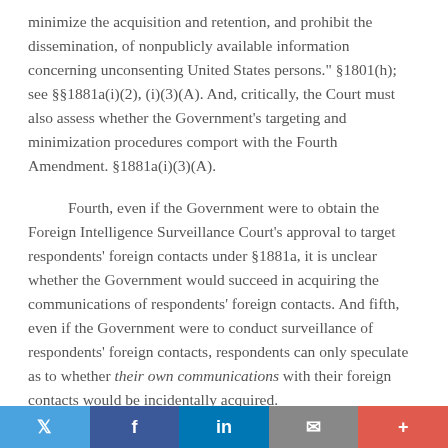minimize the acquisition and retention, and prohibit the dissemination, of nonpublicly available information concerning unconsenting United States persons." §1801(h); see §§1881a(i)(2), (i)(3)(A). And, critically, the Court must also assess whether the Government's targeting and minimization procedures comport with the Fourth Amendment. §1881a(i)(3)(A).
Fourth, even if the Government were to obtain the Foreign Intelligence Surveillance Court's approval to target respondents' foreign contacts under §1881a, it is unclear whether the Government would succeed in acquiring the communications of respondents' foreign contacts. And fifth, even if the Government were to conduct surveillance of respondents' foreign contacts, respondents can only speculate as to whether their own communications with their foreign contacts would be incidentally acquired.
Twitter | Facebook | LinkedIn | Email | +